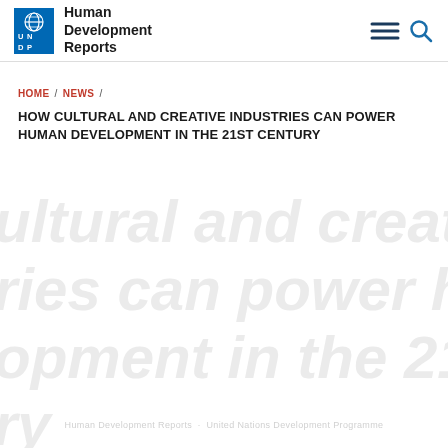Human Development Reports
HOME / NEWS /
HOW CULTURAL AND CREATIVE INDUSTRIES CAN POWER HUMAN DEVELOPMENT IN THE 21ST CENTURY
[Figure (other): Large faint italic watermark text reading: cultural and creative industries can power human development in the 21st century]
Faint metadata line at bottom of page